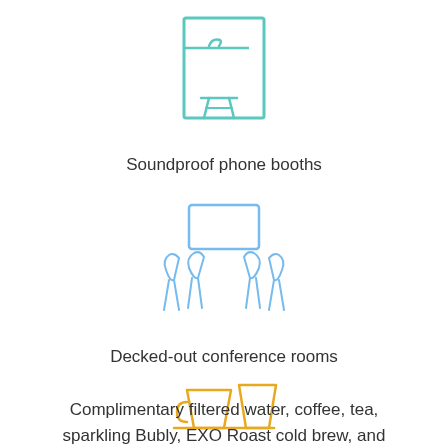[Figure (illustration): Phone booth icon in teal/mint outline style showing a booth with a phone and stool]
Soundproof phone booths
[Figure (illustration): Conference room icon in light blue outline style showing a screen/monitor with chairs around a table]
Decked-out conference rooms
[Figure (illustration): Coffee/drinks icon in amber/gold outline style showing a cup and a glass on a surface]
Complimentary filtered water, coffee, tea, sparkling Bubly, EXO Roast cold brew, and